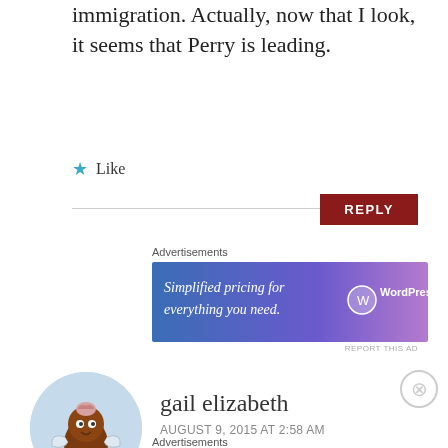immigration. Actually, now that I look, it seems that Perry is leading.
★ Like
REPLY
Advertisements
[Figure (infographic): WordPress.com advertisement banner with gradient blue-purple background. Text: 'Simplified pricing for everything you need.' with WordPress.com logo on right.]
REPORT THIS AD
[Figure (illustration): Circular avatar with light blue background showing a cartoon character — a round brown creature with a pink brain on top, big eyes, small wings, and stick legs.]
gail elizabeth
AUGUST 9, 2015 AT 2:58 AM
Advertisements
[Figure (infographic): Automattic advertisement. Shows 'AUTOMATTIC' logo and text: 'Build a better web and a better world.']